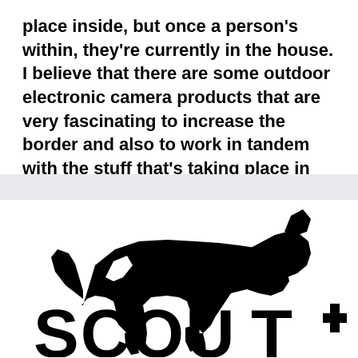place inside, but once a person's within, they're currently in the house. I believe that there are some outdoor electronic camera products that are very fascinating to increase the border and also to work in tandem with the stuff that's taking place in your house.".
[Figure (logo): Scout logo: black silhouette of a wolf/coyote walking, above large bold letters 'SCOUT' with a plus/cross symbol, partially visible]